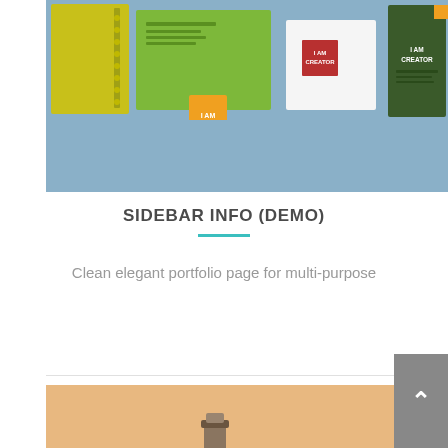[Figure (photo): Branding/stationery mockup showing yellow notebook, green folded brochure with 'I AM CREATOR' tag, white square card with red logo square, and dark green card with 'I AM CREATOR' text on a light blue background.]
SIDEBAR INFO (DEMO)
Clean elegant portfolio page for multi-purpose
[Figure (photo): Partial view of an orange/tan background with a small cylindrical object visible at the bottom, suggesting a product photography setup.]